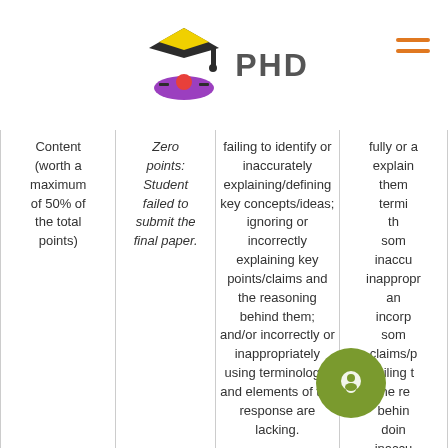PHD
| Content (worth a maximum of 50% of the total points) | Zero points: Student failed to submit the final paper. | failing to identify or inaccurately explaining/defining key concepts/ideas; ignoring or incorrectly explaining key points/claims and the reasoning behind them; and/or incorrectly or inappropriately using terminology; and elements of the response are lacking. | fully or accurately explaining/defining them; terminology that is somewhat inaccurately/inappropriately and incorporating some claims/points; failing to explain the reasoning behind doing so; inaccurately; elements of the response are lacking. |
| --- | --- | --- | --- |